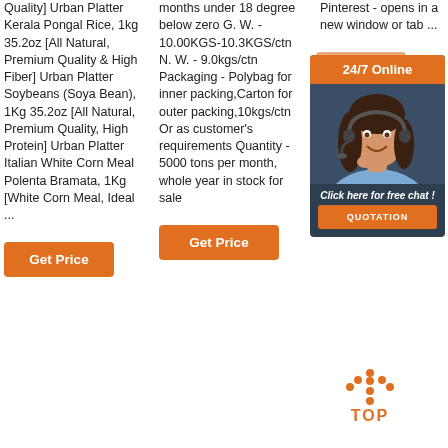Quality] Urban Platter Kerala Pongal Rice, 1kg 35.2oz [All Natural, Premium Quality & High Fiber] Urban Platter Soybeans (Soya Bean), 1Kg 35.2oz [All Natural, Premium Quality, High Protein] Urban Platter Italian White Corn Meal Polenta Bramata, 1Kg [White Corn Meal, Ideal ...
months under 18 degree below zero G. W. - 10.00KGS-10.3KGS/ctn N. W. - 9.0kgs/ctn Packaging - Polybag for inner packing,Carton for outer packing,10kgs/ctn Or as customer's requirements Quantity - 5000 tons per month, whole year in stock for sale
Pinterest - opens in a new window or tab ...
[Figure (infographic): Customer service chat widget with '24/7 Online' header in orange, photo of woman with headset on dark blue background, 'Click here for free chat!' text, and orange 'QUOTATION' button]
[Figure (infographic): Orange dotted arrow pointing upward with 'TOP' text below in orange, functioning as a back-to-top button]
Get Price
Get Price
Get Price